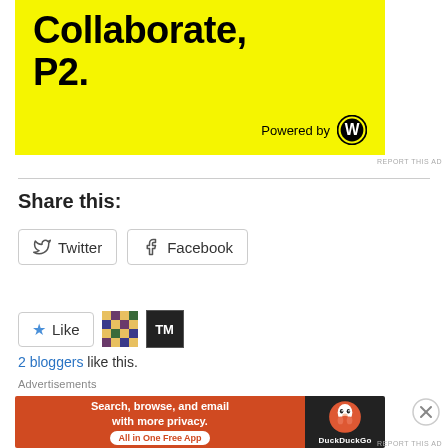[Figure (illustration): Yellow advertisement banner showing 'Collaborate, P2.' text in bold black with 'Powered by WordPress' logo at bottom right]
REPORT THIS AD
Share this:
[Figure (illustration): Twitter share button with bird icon and text 'Twitter']
[Figure (illustration): Facebook share button with f icon and text 'Facebook']
[Figure (illustration): Like button with blue star icon and text 'Like', followed by two blogger avatar icons]
2 bloggers like this.
Advertisements
[Figure (illustration): DuckDuckGo advertisement: orange left panel saying 'Search, browse, and email with more privacy. All in One Free App' and dark right panel with DuckDuckGo duck logo]